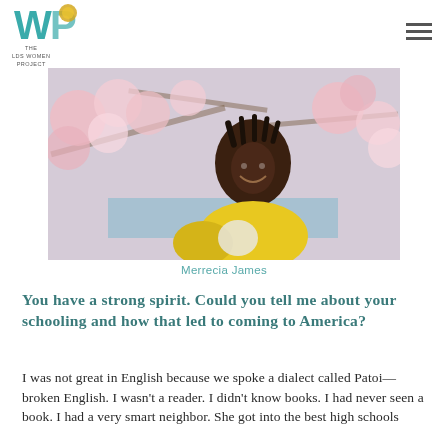THE LDS WOMEN PROJECT
[Figure (photo): Portrait photo of Merrecia James smiling outdoors in front of cherry blossom trees, wearing a yellow top]
Merrecia James
You have a strong spirit. Could you tell me about your schooling and how that led to coming to America?
I was not great in English because we spoke a dialect called Patoi—broken English. I wasn't a reader. I didn't know books. I had never seen a book. I had a very smart neighbor. She got into the best high schools